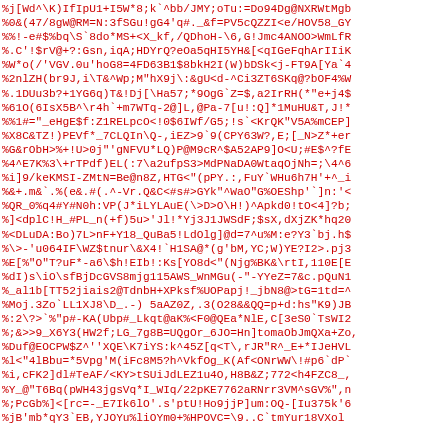%j[Wd^\K)IfIpU1+I5W*8;k`^bb/JMY;oTu:=Do94Dg@NXRWtMgb
%0&(47/8gW@RM=N:3fSGu!gG4'q#._&f=PV5cQZZI<e/HOV58_GY
%%!-e#$%bq\S`8do*MS+<X_kf,/QDhoH-\6,G!Jmc4ANOO>WmLfR
%.C'!$rV@+?:Gsn,iqA;HDYrQ?eOa5qHI5YH&[<qIGeFqhArIIiK
%W*o(/'VGV.0u'hoG8=4FD63B1$8bkH2I(W)bDSk<j-FT9A[Ya`4
%2nlZH(br9J,i\T&^Wp;M"hX9j\:&gU<d-^Ci3ZT6SKq@?bOF4%W
%.1DUu3b?+1YG6q)T&!Dj[\Ha57;*9OgG`Z=$,a2IrRH(*"e+j4$
%61O(6IsX5B^\r4h`+m7WTq-2@]L,@Pa-7[u!:Q]*1MuHU&T,J!*
%%1#="_eHgE$f:Z1RELpcO<!0$6IWf/G5;!s`<KrQK"V5A%mCEP]
%X8C&TZ!)PEVf*_7CLQIn\Q-,iEZ>9`9(CPY63W?,E;[_N>Z*+er
%G&rObH>%+!U>0j"'gNFVU*LQ)P@M9cR^$A52AP9]O<U;#E$^?fE
%4^E7K%3\+rTPdf)EL(:7\a2ufpS3>MdPNaDA0WtaqOjNh=;\4^6
%i]9/keKMSI-ZMtN=Be@n8Z,HTG<"(pPY.:,FuY`WHu6h7H'+^_i
%&+.m&`.%(e&.#(.^-Vr.Q&C<#s#>GYk"^WaO"G%OEShp'`]n:'<
%QR_0%q4#Y#N0h:VP(J*iLYLAuE(\>D>O\H!)^Apkd0!tO<4]?b;
%]<dplC!H_#PL_n(+f)5u>'Jl!*Yj3J1JWSdF;$sX,dXjZK*hq20
%<DLuDA:Bo)7L>nF+Y18_QuBa5!LdOlg]@d=7^u%M:e?Y3`bj.h$
%\>-'u064IF\WZ$tnur\&X4!`H1SA@*(g'bM,YC;W)YE?I2>.pj3
%E[%"O"T?uF*-a6\$h!EIb!:Ks[YO8d<"(Njg%BK&\rtI,110E[E
%dI)s\iO\sfBjDcGVS8mjg115AWS_WnMGu(-"-YYeZ=7&c.pQuN1
%_al1b[TT52jiais2@TdnbH+XPksf%UOPapj!_jbN8@>tG=1td=^
%Moj.3Zo`LL1XJ8\D_.-)5aAZ0Z,.3(O28&&QQ=p+d:hs"K9)JB
%:2\?>` %"p#-KA(Ubp#_Lkqt@aK%<F0@QEa*NlE,C[3eS0`TsWI2
%;>>9_X6Y3(HW2f;LG_7g8B=UQgOr_6JO=Hn]tomaObJmQXa+Zo,
%Duf@EOCPW$Z^''XQE\K7iYS:k^45Z[q<T\,rJR"R^_E+*IJeHVL
%l<"4lBbu=*5Vpg'M(iFc8M5?h^VkfOg_K(Af<ONrWW\!#p6`dP`
%i,cFK2]dl#TeAF/<KY>tSUiJdLEZ1u4O,H8B&Z;772<h4FZC8_,
%Y_@"T6Bq(pWH43jgsVq*I_WIq/22pKE7762aRNrr3VM^sGV%",n
%;PcGb%]<[rc=-_E7Ik6lO'.s'ptU!Ho9jjP]um:OQ-[Iu375k'6
%jB'mb*qY3`EB,YJOYu%liOYm0+%HPOVC=\9..C`tmYur18VXol